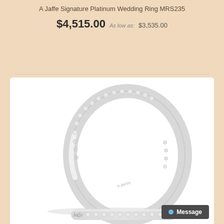A Jaffe Signature Platinum Wedding Ring MRS235
$4,515.00  As low as: $3,535.00
[Figure (photo): A Jaffe Signature Platinum Wedding Ring MRS235 shown in a product photo. The ring is a platinum diamond wedding band with a curved/contoured shape, featuring channel-set round diamonds along the top arc. The ring is shown lying on its side to display the profile and diamond setting. A brand mark appears on the interior of the band.]
Message